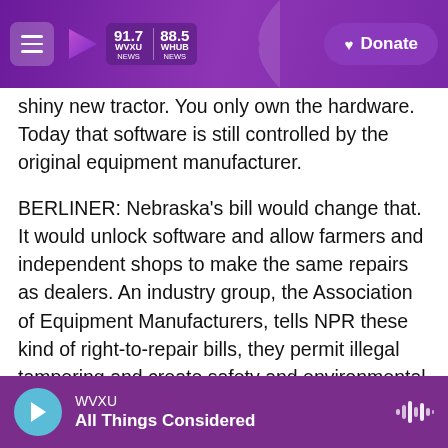WVXU 91.7 NEWS | 88.5 WHUB NEWS | Donate
shiny new tractor. You only own the hardware. Today that software is still controlled by the original equipment manufacturer.
BERLINER: Nebraska's bill would change that. It would unlock software and allow farmers and independent shops to make the same repairs as dealers. An industry group, the Association of Equipment Manufacturers, tells NPR these kind of right-to-repair bills, they permit illegal tampering and create safety and environmental risks. And that's why states have rejected such bills in the past. But those right-to-repair bills, they keep
WVXU
All Things Considered